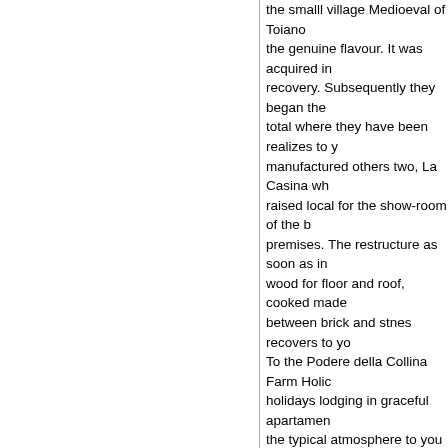the smalll village Medioeval of Toiano the genuine flavour. It was acquired in recovery. Subsequently they began the total where they have been realizes to y manufactured others two, La Casina wh raised local for the show-room of the b premises. The restructure as soon as in wood for floor and roof, cooked made between brick and stnes recovers to yo To the Podere della Collina Farm Holic holidays lodging in graceful apartamen the typical atmosphere to you of the co manufactured; 5 apartament: Gli olivi, laundry local to disposition of host for manufactured others two, indipendent the ground floor indipendent, floor rais Capanna used like agricultural premise
As soon as yor days you can choose be play tennis or golf, to make walks with be able to admire the landscape of the T festivals and festivities, or to visit the a the evening to taste plates of the Tusca The Podere della Collina company exte